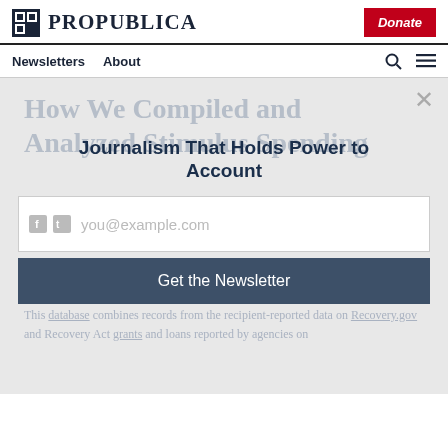ProPublica | Newsletters | About | Donate
Journalism That Holds Power to Account
How We Compiled and Analyzed Stimulus Spending
by Jennifer LaFleur  Dec. 9, 2009, 8:17 a.m. EST
Updated: ..., 2013
This database combines records from the recipient-reported data on Recovery.gov and Recovery Act grants and loans reported by agencies on
you@example.com
Get the Newsletter